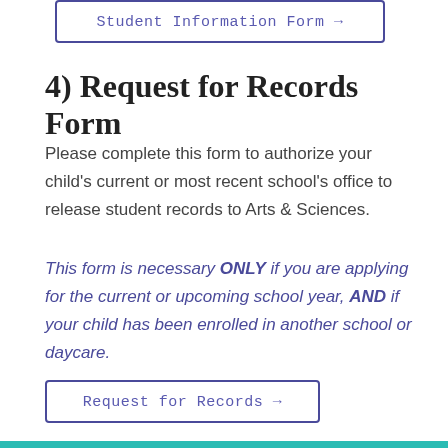[Figure (other): Button/link box labeled 'Student Information Form →' with purple border]
4) Request for Records Form
Please complete this form to authorize your child's current or most recent school's office to release student records to Arts & Sciences.
This form is necessary ONLY if you are applying for the current or upcoming school year, AND if your child has been enrolled in another school or daycare.
[Figure (other): Button/link box labeled 'Request for Records →' with purple border]